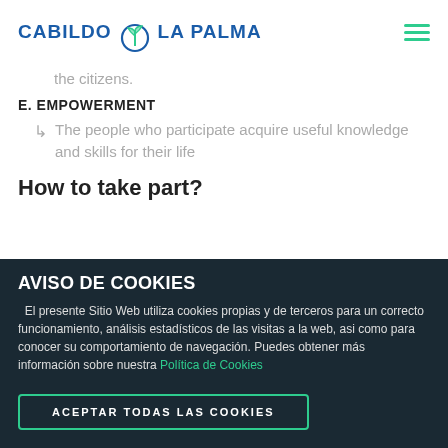CABILDO LA PALMA
the citizens.
E. EMPOWERMENT
The people who participate acquire useful knowledge and skills for their life
How to take part?
AVISO DE COOKIES
El presente Sitio Web utiliza cookies propias y de terceros para un correcto funcionamiento, análisis estadísticos de las visitas a la web, asi como para conocer su comportamiento de navegación. Puedes obtener más información sobre nuestra Política de Cookies
ACEPTAR TODAS LAS COOKIES